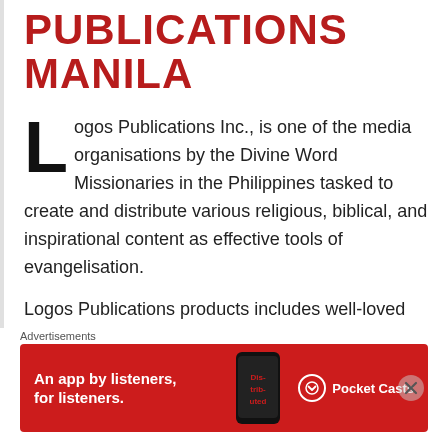PUBLICATIONS MANILA
Logos Publications Inc., is one of the media organisations by the Divine Word Missionaries in the Philippines tasked to create and distribute various religious, biblical, and inspirational content as effective tools of evangelisation.
Logos Publications products includes well-loved and highly appreciated books such as:
Advertisements
[Figure (infographic): Red advertisement banner for Pocket Casts app showing text 'An app by listeners, for listeners.' with a phone graphic displaying 'Distributed' text and Pocket Casts logo]